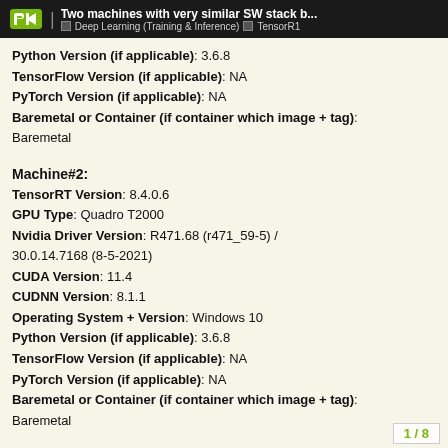Two machines with very similar SW stack b... | Deep Learning (Training & Inference) | TensorR1
Python Version (if applicable): 3.6.8
TensorFlow Version (if applicable): NA
PyTorch Version (if applicable): NA
Baremetal or Container (if container which image + tag): Baremetal
Machine#2:
TensorRT Version: 8.4.0.6
GPU Type: Quadro T2000
Nvidia Driver Version: R471.68 (r471_59-5) / 30.0.14.7168 (8-5-2021)
CUDA Version: 11.4
CUDNN Version: 8.1.1
Operating System + Version: Windows 10
Python Version (if applicable): 3.6.8
TensorFlow Version (if applicable): NA
PyTorch Version (if applicable): NA
Baremetal or Container (if container which image + tag): Baremetal
1 / 8